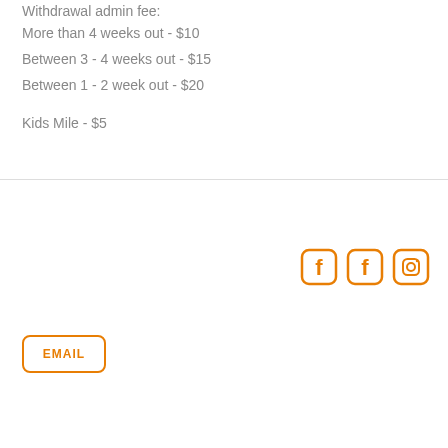Withdrawal admin fee:
More than 4 weeks out - $10
Between 3 - 4 weeks out - $15
Between 1 - 2 week out - $20
Kids Mile - $5
[Figure (infographic): Social media icons: two Facebook icons and one Instagram icon in orange rounded square style]
EMAIL